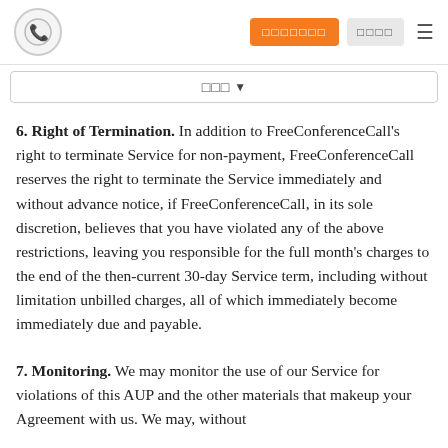[Logo] [Sign Up button] [Log In button] [Menu]
□□□ ▼
6. Right of Termination. In addition to FreeConferenceCall's right to terminate Service for non-payment, FreeConferenceCall reserves the right to terminate the Service immediately and without advance notice, if FreeConferenceCall, in its sole discretion, believes that you have violated any of the above restrictions, leaving you responsible for the full month's charges to the end of the then-current 30-day Service term, including without limitation unbilled charges, all of which immediately become immediately due and payable.
7. Monitoring. We may monitor the use of our Service for violations of this AUP and the other materials that makeup your Agreement with us. We may, without